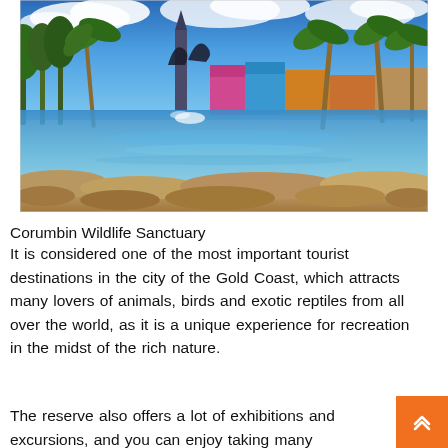[Figure (photo): Aerial/ground-level photo of Corumbin Wildlife Sanctuary showing a large lagoon/pool with blue water, palm trees, colorful tropical buildings, and what appears to be dolphins jumping, under a bright blue sky with clouds.]
Corumbin Wildlife Sanctuary
It is considered one of the most important tourist destinations in the city of the Gold Coast, which attracts many lovers of animals, birds and exotic reptiles from all over the world, as it is a unique experience for recreation in the midst of the rich nature.
The reserve also offers a lot of exhibitions and excursions, and you can enjoy taking many